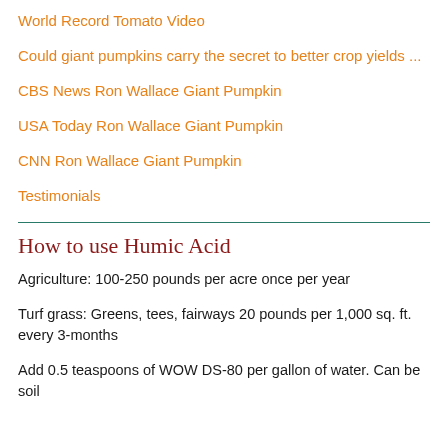World Record Tomato Video
Could giant pumpkins carry the secret to better crop yields ...
CBS News Ron Wallace Giant Pumpkin
USA Today Ron Wallace Giant Pumpkin
CNN Ron Wallace Giant Pumpkin
Testimonials
How to use Humic Acid
Agriculture: 100-250 pounds per acre once per year
Turf grass: Greens, tees, fairways 20 pounds per 1,000 sq. ft. every 3-months
Add 0.5 teaspoons of WOW DS-80 per gallon of water.  Can be soil